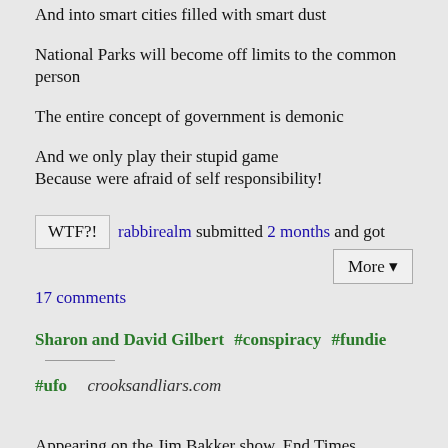And into smart cities filled with smart dust
National Parks will become off limits to the common person
The entire concept of government is demonic
And we only play their stupid game
Because were afraid of self responsibility!
WTF?! rabbirealm submitted 2 months and got 17 comments More ▾
Sharon and David Gilbert #conspiracy #fundie #ufo crooksandliars.com
Appearing on the Jim Bakker show, End Times preacher Sharon Gilbert says that an alien imitated her husband, tried to have sex with her, then it claimed to be Xerxes, she invoked Jesus, and then the alien revealed itself as a reptile